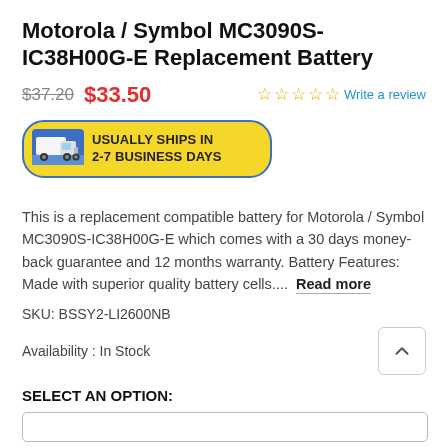Motorola / Symbol MC3090S-IC38H00G-E Replacement Battery
$37.20  $33.50  ☆☆☆☆☆ Write a review
[Figure (infographic): Yellow shipping badge with truck icon and text 'USUALLY SHIPS IN 2-7 BUSINESS DAYS']
This is a replacement compatible battery for Motorola / Symbol MC3090S-IC38H00G-E which comes with a 30 days money-back guarantee and 12 months warranty. Battery Features: Made with superior quality battery cells....  Read more
SKU: BSSY2-LI2600NB
Availability : In Stock
SELECT AN OPTION: